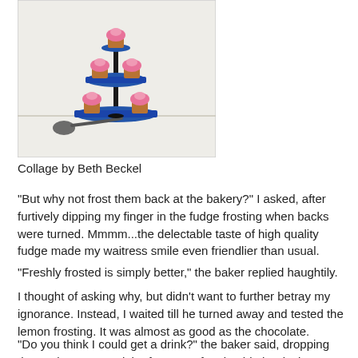[Figure (illustration): A collage showing pink-frosted cupcakes on a blue tiered cake stand, with a dark spoon nearby, on a lightly textured white/grey background. The image has a thin border.]
Collage by Beth Beckel
"But why not frost them back at the bakery?" I asked, after furtively dipping my finger in the fudge frosting when backs were turned. Mmmm...the delectable taste of high quality fudge made my waitress smile even friendlier than usual.
"Freshly frosted is simply better," the baker replied haughtily.
I thought of asking why, but didn't want to further betray my ignorance. Instead, I waited till he turned away and tested the lemon frosting. It was almost as good as the chocolate.
"Do you think I could get a drink?" the baker said, dropping the snob act, as a glob of coconut frosting hit the deck. "I'm under a lot of pressure here."